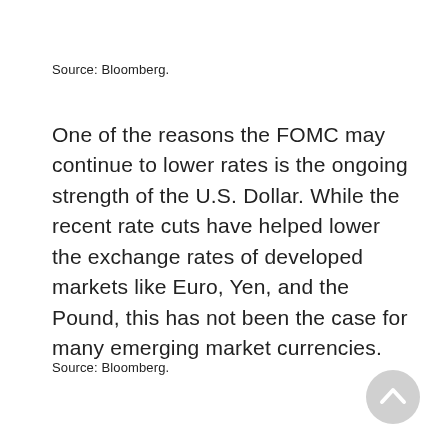Source: Bloomberg.
One of the reasons the FOMC may continue to lower rates is the ongoing strength of the U.S. Dollar. While the recent rate cuts have helped lower the exchange rates of developed markets like Euro, Yen, and the Pound, this has not been the case for many emerging market currencies.
Source: Bloomberg.